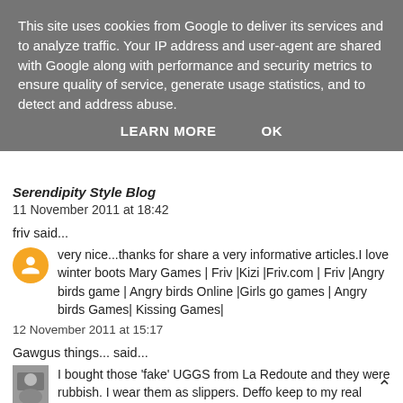This site uses cookies from Google to deliver its services and to analyze traffic. Your IP address and user-agent are shared with Google along with performance and security metrics to ensure quality of service, generate usage statistics, and to detect and address abuse.
LEARN MORE    OK
Serendipity Style Blog
11 November 2011 at 18:42
friv said...
very nice...thanks for share a very informative articles.I love winter boots Mary Games | Friv |Kizi |Friv.com | Friv |Angry birds game | Angry birds Online |Girls go games | Angry birds Games| Kissing Games|
12 November 2011 at 15:17
Gawgus things... said...
I bought those 'fake' UGGS from La Redoute and they were rubbish. I wear them as slippers. Deffo keep to my real ones :)
Emma xxx
http://www.gawgusthings.com